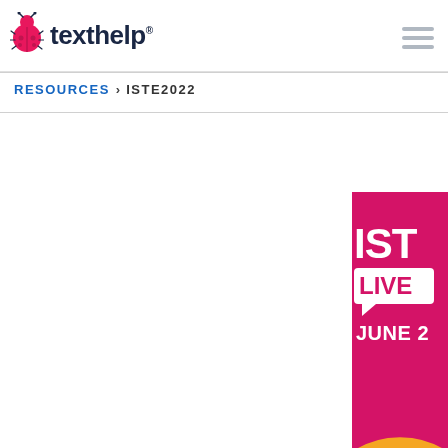[Figure (logo): Texthelp logo with pink ladybug icon and dark navy wordmark 'texthelp' with registered trademark symbol]
RESOURCES > ISTE2022
[Figure (illustration): ISTE Live event banner in pink/magenta background, partially visible on right side, showing 'ISTE LIVE JUNE' text and rainbow arc decoration]